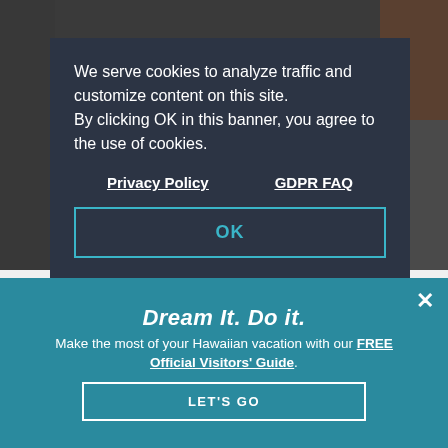[Figure (photo): Dark background photo, partially visible behind cookie modal overlay]
We serve cookies to analyze traffic and customize content on this site. By clicking OK in this banner, you agree to the use of cookies.
Privacy Policy    GDPR FAQ
OK
Fr... su... ac... se... family in the Hawaiian Islands.
Dream It. Do it.
Make the most of your Hawaiian vacation with our FREE Official Visitors' Guide.
LET'S GO